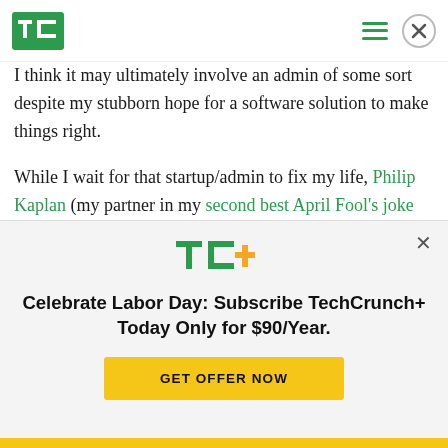TechCrunch — TC logo header with hamburger menu and close button
I think it may ultimately involve an admin of some sort despite my stubborn hope for a software solution to make things right.
While I wait for that startup/admin to fix my life, Philip Kaplan (my partner in my second best April Fool's joke ever) (here's the first) has built a cool new service that I will likely use in the meantime
[Figure (logo): TC+ TechCrunch Plus logo in green with orange plus sign]
Celebrate Labor Day: Subscribe TechCrunch+ Today Only for $90/Year.
GET OFFER NOW